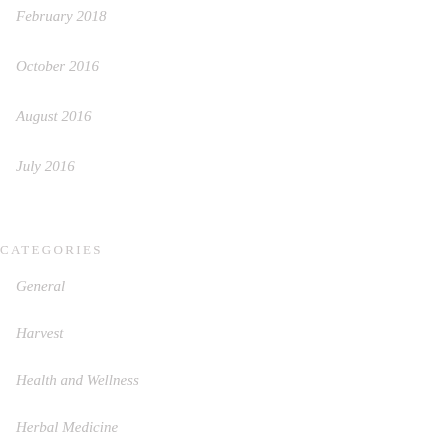February 2018
October 2016
August 2016
July 2016
CATEGORIES
General
Harvest
Health and Wellness
Herbal Medicine